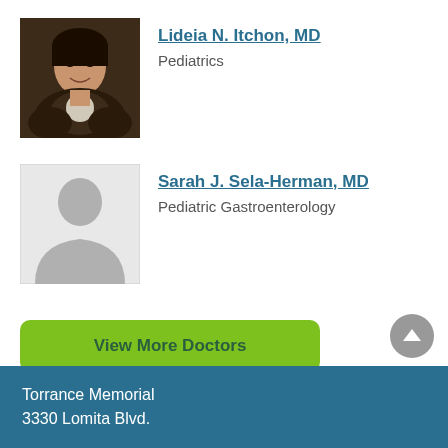[Figure (photo): Photo of Lideia N. Itchon, MD - a woman with dark hair in professional attire]
Lideia N. Itchon, MD
Pediatrics
[Figure (photo): Placeholder silhouette for Sarah J. Sela-Herman, MD]
Sarah J. Sela-Herman, MD
Pediatric Gastroenterology
View More Doctors
Torrance Memorial
3330 Lomita Blvd.